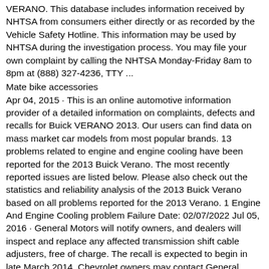VERANO. This database includes information received by NHTSA from consumers either directly or as recorded by the Vehicle Safety Hotline. This information may be used by NHTSA during the investigation process. You may file your own complaint by calling the NHTSA Monday-Friday 8am to 8pm at (888) 327-4236, TTY ...
Mate bike accessories
Apr 04, 2015 · This is an online automotive information provider of a detailed information on complaints, defects and recalls for Buick VERANO 2013. Our users can find data on mass market car models from most popular brands. 13 problems related to engine and engine cooling have been reported for the 2013 Buick Verano. The most recently reported issues are listed below. Please also check out the statistics and reliability analysis of the 2013 Buick Verano based on all problems reported for the 2013 Verano. 1 Engine And Engine Cooling problem Failure Date: 02/07/2022 Jul 05, 2016 · General Motors will notify owners, and dealers will inspect and replace any affected transmission shift cable adjusters, free of charge. The recall is expected to begin in late March 2014. Chevrolet owners may contact General Motors at 1-800-222-1020, Buick owners at 1-800-521-7300, and GMC owners at 1-800-462-8782. Aug 29, 2016 · 2013 Buick Verano Engine (pws) Service Bulletin 486992. NHTSA Item Number: 10082869. Service Bulletin Number: PI1394A. Date of Bulletin: Aug 29, 2016. Component: Engine (pws) 2013 Buick Verano Engine And Engine Cooling Service Bulletin 485477. NHTSA Item Num...